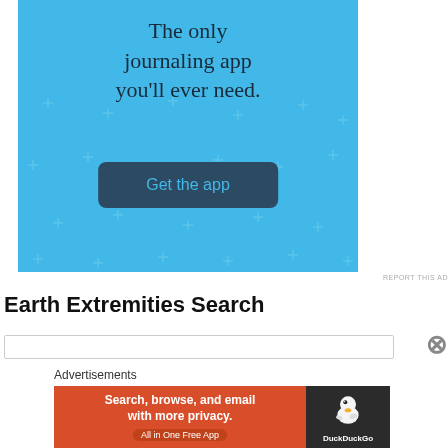[Figure (screenshot): Advertisement banner with light blue background. Text reads 'The only journaling app you'll ever need.' with a 'Get the app' button in dark blue.]
REPORT THIS AD
Earth Extremities Search
[Figure (screenshot): Search input box with close X button on the right.]
Advertisements
[Figure (screenshot): DuckDuckGo advertisement. Left orange side: 'Search, browse, and email with more privacy. All in One Free App'. Right dark side: DuckDuckGo duck logo.]
REPORT THIS AD